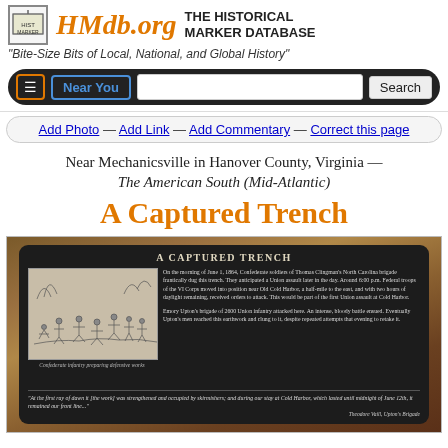HMdb.org THE HISTORICAL MARKER DATABASE
"Bite-Size Bits of Local, National, and Global History"
Add Photo — Add Link — Add Commentary — Correct this page
Near Mechanicsville in Hanover County, Virginia — The American South (Mid-Atlantic)
A Captured Trench
[Figure (photo): Photo of a historical marker sign for 'A Captured Trench', showing a dark board with text about the Civil War battle of June 1, 1864, and an illustration of Confederate infantry preparing defensive works. The marker includes a quote from Theodore Vaill, Upton's Brigade.]